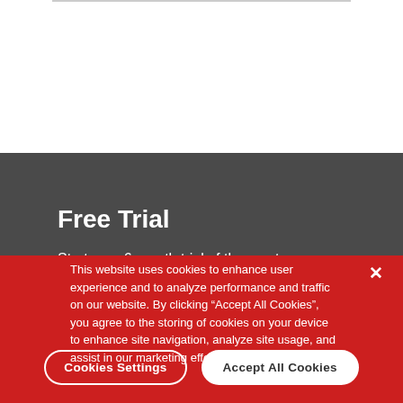Free Trial
Start your 6-month trial of the most secure solution for creating and publishing your APIs.
This website uses cookies to enhance user experience and to analyze performance and traffic on our website. By clicking “Accept All Cookies”, you agree to the storing of cookies on your device to enhance site navigation, analyze site usage, and assist in our marketing efforts.
Cookies Settings
Accept All Cookies